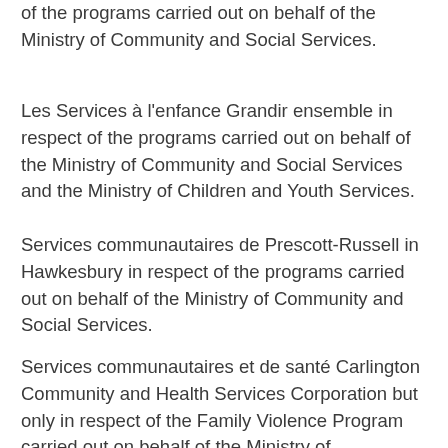of the programs carried out on behalf of the Ministry of Community and Social Services.
Les Services à l’enfance Grandir ensemble in respect of the programs carried out on behalf of the Ministry of Community and Social Services and the Ministry of Children and Youth Services.
Services communautaires de Prescott-Russell in Hawkesbury in respect of the programs carried out on behalf of the Ministry of Community and Social Services.
Services communautaires et de santé Carlington Community and Health Services Corporation but only in respect of the Family Violence Program carried out on behalf of the Ministry of Community